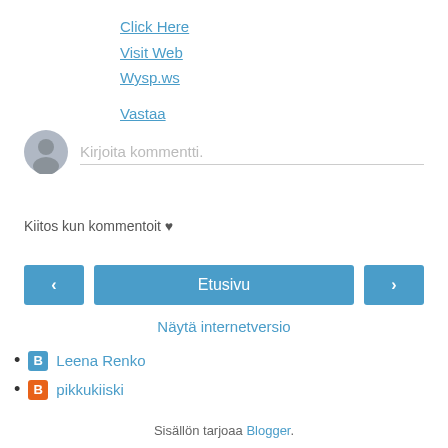Click Here
Visit Web
Wysp.ws
Vastaa
[Figure (illustration): Grey avatar/profile placeholder icon (circle with person silhouette) next to a comment input field with placeholder text 'Kirjoita kommentti.' and a bottom border line]
Kirjoita kommentti.
Kiitos kun kommentoit ♥
Etusivu
Näytä internetversio
Leena Renko
pikkukiiski
Sisällön tarjoaa Blogger.